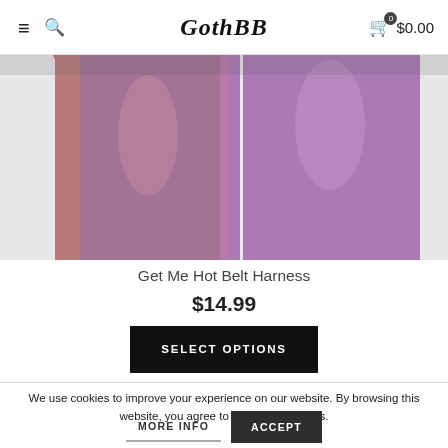GothBB — $0.00
[Figure (photo): Close-up photo of legs wearing purple hosiery/tights with a belt harness product, split into two side-by-side views against a light grey background]
Get Me Hot Belt Harness
$14.99
SELECT OPTIONS
We use cookies to improve your experience on our website. By browsing this website, you agree to our use of cookies.
MORE INFO
ACCEPT